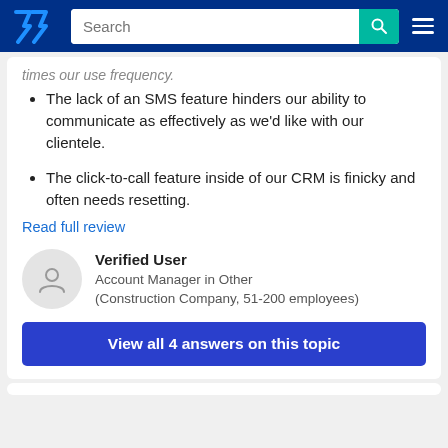TrustRadius — Search bar navigation
times our use frequency.
The lack of an SMS feature hinders our ability to communicate as effectively as we'd like with our clientele.
The click-to-call feature inside of our CRM is finicky and often needs resetting.
Read full review
Verified User
Account Manager in Other
(Construction Company, 51-200 employees)
View all 4 answers on this topic